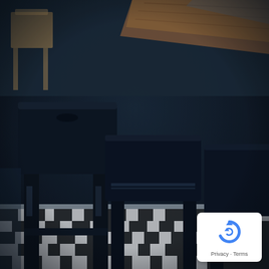[Figure (photo): Close-up photograph of black metal bar stools with square seats arranged in a bar or restaurant setting. The floor has a black and white geometric patterned rug/tile. In the background, a wooden bar counter is visible at the top right, and a wooden chair is partially visible at the top left. The scene has a moody, dark-blue toned atmosphere.]
[Figure (logo): Google reCAPTCHA badge in the bottom right corner, showing the reCAPTCHA circular arrow logo icon in blue, with 'Privacy · Terms' text below it, all inside a white rounded rectangle card.]